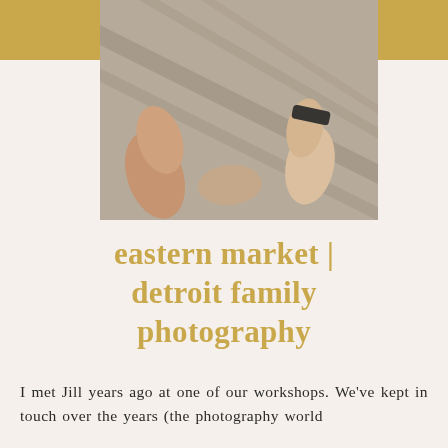[Figure (photo): Two people holding hands, shot from above looking down at a concrete surface with diagonal shadow lines. One person wears a dark watch/bracelet on their wrist.]
eastern market | detroit family photography
I met Jill years ago at one of our workshops. We've kept in touch over the years (the photography world